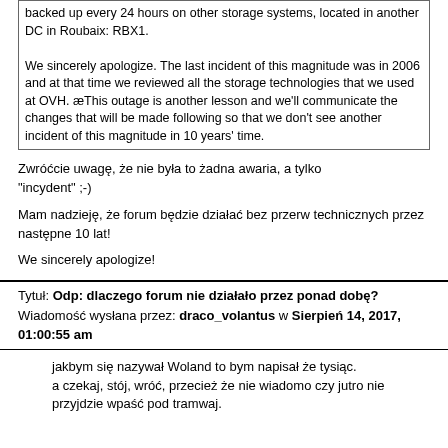backed up every 24 hours on other storage systems, located in another DC in Roubaix: RBX1.

We sincerely apologize. The last incident of this magnitude was in 2006 and at that time we reviewed all the storage technologies that we used at OVH. æThis outage is another lesson and we'll communicate the changes that will be made following so that we don't see another incident of this magnitude in 10 years' time.
Zwróćcie uwagę, że nie była to żadna awaria, a tylko "incydent" ;-)
Mam nadzieję, że forum będzie działać bez przerw technicznych przez następne 10 lat!
We sincerely apologize!
Tytuł: Odp: dlaczego forum nie działało przez ponad dobę?
Wiadomość wysłana przez: draco_volantus w Sierpień 14, 2017, 01:00:55 am
jakbym się nazywał Woland to bym napisał że tysiąc.
a czekaj, stój, wróć, przecież że nie wiadomo czy jutro nie przyjdzie wpaść pod tramwaj.